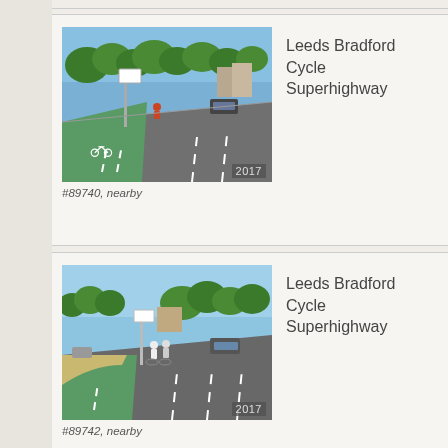[Figure (photo): Street-level photo of Leeds Bradford Cycle Superhighway showing a green cycle lane with bicycle markings, dated 2017]
#89740, nearby
Leeds Bradford Cycle Superhighway
[Figure (photo): Street-level photo of Leeds Bradford Cycle Superhighway showing cyclists on a green lane next to a main road, dated 2017]
#89742, nearby
Leeds Bradford Cycle Superhighway